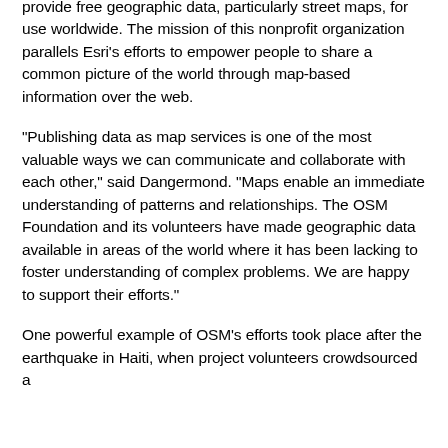provide free geographic data, particularly street maps, for use worldwide. The mission of this nonprofit organization parallels Esri’s efforts to empower people to share a common picture of the world through map-based information over the web.
“Publishing data as map services is one of the most valuable ways we can communicate and collaborate with each other,” said Dangermond. “Maps enable an immediate understanding of patterns and relationships. The OSM Foundation and its volunteers have made geographic data available in areas of the world where it has been lacking to foster understanding of complex problems. We are happy to support their efforts.”
One powerful example of OSM’s efforts took place after the earthquake in Haiti, when project volunteers crowdsourced a